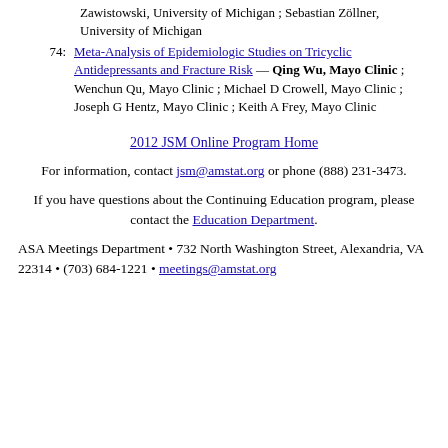Zawistowski, University of Michigan ; Sebastian Zöllner, University of Michigan
74: Meta-Analysis of Epidemiologic Studies on Tricyclic Antidepressants and Fracture Risk — Qing Wu, Mayo Clinic ; Wenchun Qu, Mayo Clinic ; Michael D Crowell, Mayo Clinic ; Joseph G Hentz, Mayo Clinic ; Keith A Frey, Mayo Clinic
2012 JSM Online Program Home
For information, contact jsm@amstat.org or phone (888) 231-3473.
If you have questions about the Continuing Education program, please contact the Education Department.
ASA Meetings Department • 732 North Washington Street, Alexandria, VA 22314 • (703) 684-1221 • meetings@amstat.org